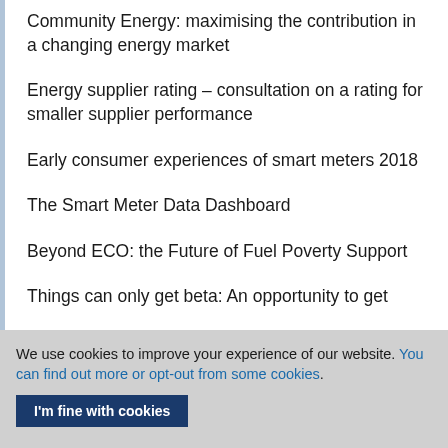Community Energy: maximising the contribution in a changing energy market
Energy supplier rating – consultation on a rating for smaller supplier performance
Early consumer experiences of smart meters 2018
The Smart Meter Data Dashboard
Beyond ECO: the Future of Fuel Poverty Support
Things can only get beta: An opportunity to get
We use cookies to improve your experience of our website. You can find out more or opt-out from some cookies.
I'm fine with cookies